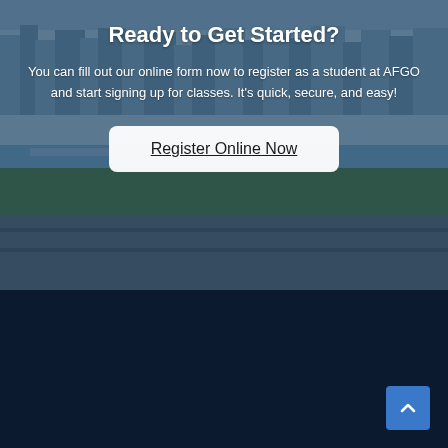[Figure (photo): Aerial view of a French city with river, bridges, trees, and urban streets, used as a hero background image with a dark blue overlay.]
Ready to Get Started?
You can fill out our online form now to register as a student at AFGO and start signing up for classes. It's quick, secure, and easy!
Register Online Now
[Figure (logo): Alliance Française logo — stylized 'af' in red/crimson with a decorative font, followed by partial text 'Alliance Française' in white below.]